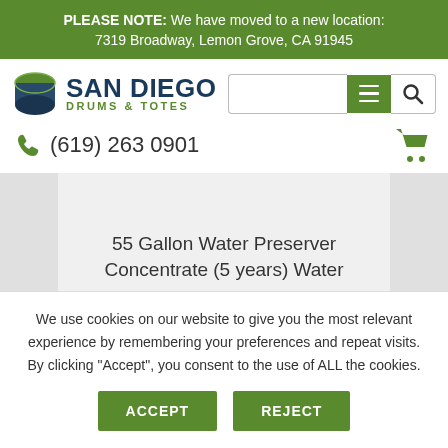PLEASE NOTE: We have moved to a new location: 7319 Broadway, Lemon Grove, CA 91945
[Figure (logo): San Diego Drums & Totes logo with drum icon]
(619) 263 0901
55 Gallon Water Preserver Concentrate (5 years) Water
We use cookies on our website to give you the most relevant experience by remembering your preferences and repeat visits. By clicking “Accept”, you consent to the use of ALL the cookies.